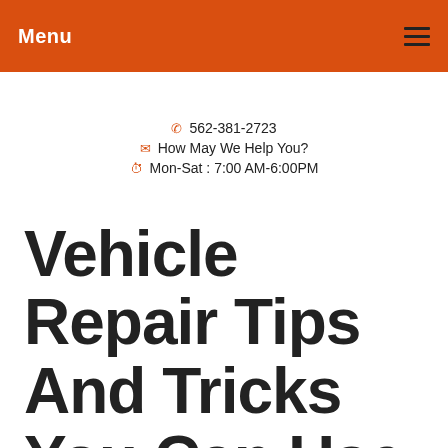Menu
562-381-2723
How May We Help You?
Mon-Sat : 7:00 AM-6:00PM
Vehicle Repair Tips And Tricks You Can Use Today